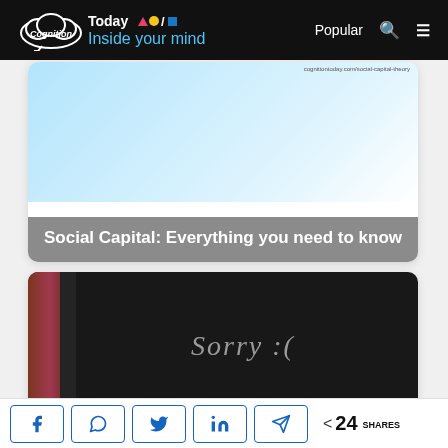Cognition Today — Inside your mind | Popular
[Figure (screenshot): Card showing Social Capital article with blue gradient image thumbnail and title overlay]
Social Capital: Everything you need to know
[Figure (photo): Dark chalkboard with 'Sorry :(' written in chalk, partially obscured by a curtain on the left]
Share buttons: Facebook, WhatsApp, Twitter, LinkedIn, Telegram | 24 SHARES